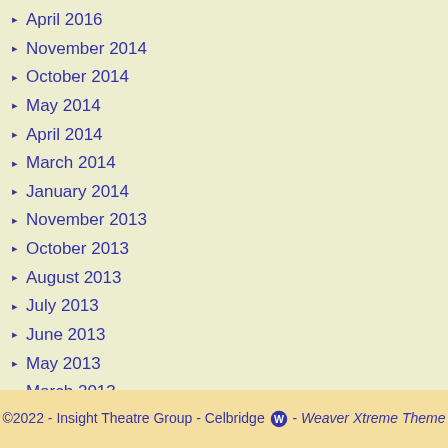April 2016
November 2014
October 2014
May 2014
April 2014
March 2014
January 2014
November 2013
October 2013
August 2013
July 2013
June 2013
May 2013
March 2013
January 2013
December 2012
November 2012
©2022 - Insight Theatre Group - Celbridge - Weaver Xtreme Theme